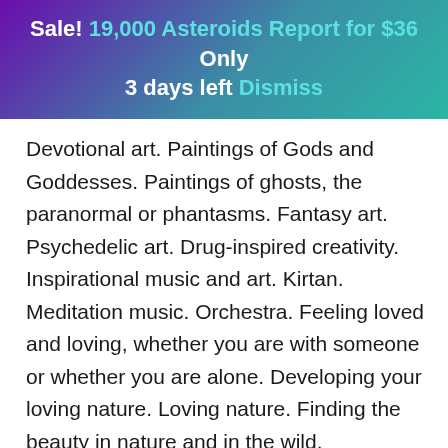Sale! 19,000 Asteroids Report for $36 Only 3 days left Dismiss
Devotional art. Paintings of Gods and Goddesses. Paintings of ghosts, the paranormal or phantasms. Fantasy art. Psychedelic art. Drug-inspired creativity. Inspirational music and art. Kirtan. Meditation music. Orchestra. Feeling loved and loving, whether you are with someone or whether you are alone. Developing your loving nature. Loving nature. Finding the beauty in nature and in the wild. Transcending personal love. Love your fears